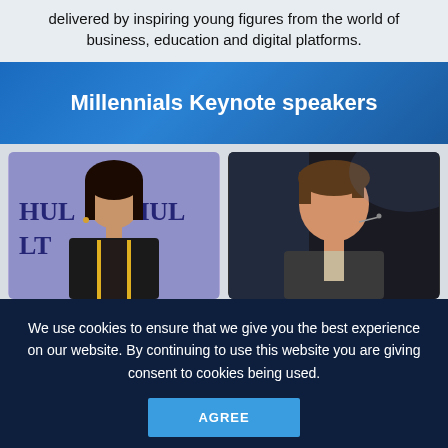delivered by inspiring young figures from the world of business, education and digital platforms.
Millennials Keynote speakers
[Figure (photo): Two photos side by side: left shows a young woman speaking at a Hult event with purple backdrop; right shows a young man speaking on a dark stage.]
We use cookies to ensure that we give you the best experience on our website. By continuing to use this website you are giving consent to cookies being used.
AGREE